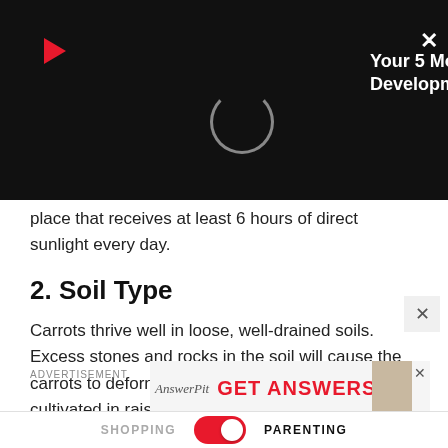[Figure (screenshot): Video player overlay banner with play icon, loading spinner circle, title 'Your 5 Month Old Baby's Growth & Development' in white text on black background, and close X button]
place that receives at least 6 hours of direct sunlight every day.
2. Soil Type
Carrots thrive well in loose, well-drained soils. Excess stones and rocks in the soil will cause the carrots to deform or split. They can also be cultivated in raised beds with soft soil. The pH of the soil needs to be in the range of 6.0 to 6.8.
ADVERTISEMENT
[Figure (screenshot): Advertisement banner with 'GET ANSWERS' text in red and photo of person, with close X]
[Figure (screenshot): Bottom navigation bar with SHOPPING and PARENTING labels and a pink toggle switch set to PARENTING]